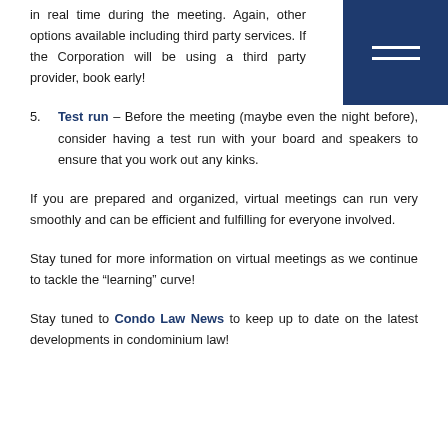in real time during the meeting. Again, other options available including third party services. If the Corporation will be using a third party provider, book early!
[Figure (other): Dark navy blue navigation menu block with two white horizontal lines (hamburger menu icon) in the top-right corner]
Test run – Before the meeting (maybe even the night before), consider having a test run with your board and speakers to ensure that you work out any kinks.
If you are prepared and organized, virtual meetings can run very smoothly and can be efficient and fulfilling for everyone involved.
Stay tuned for more information on virtual meetings as we continue to tackle the “learning” curve!
Stay tuned to Condo Law News to keep up to date on the latest developments in condominium law!